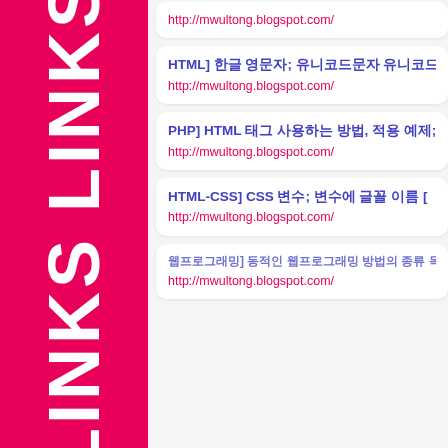[Figure (other): Vertical pink/magenta sidebar with 'LINKS' text rotated vertically]
http://mwultong.blogspot.com/
HTML] 한글 영문자; 유니코드문자 유니코드표; Arab http://mwultong.blogspot.com/
PHP] HTML 태그 사용하는 방법, 적용 예제; H http://mwultong.blogspot.com/
HTML-CSS] CSS 변수; 변수에 글꼴 이름 http://mwultong.blogspot.com/
웹프로그래밍] 동적인 웹프로그래밍 방법의 종류 목록, 서버와 클라이 목록 http://mwultong.blogspot.com/